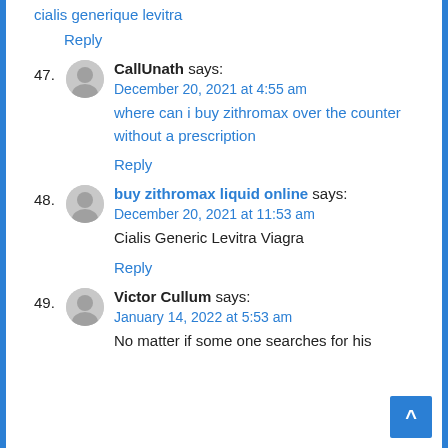cialis generique levitra
Reply
47. CallUnath says: December 20, 2021 at 4:55 am — where can i buy zithromax over the counter without a prescription
Reply
48. buy zithromax liquid online says: December 20, 2021 at 11:53 am — Cialis Generic Levitra Viagra
Reply
49. Victor Cullum says: January 14, 2022 at 5:53 am — No matter if some one searches for his